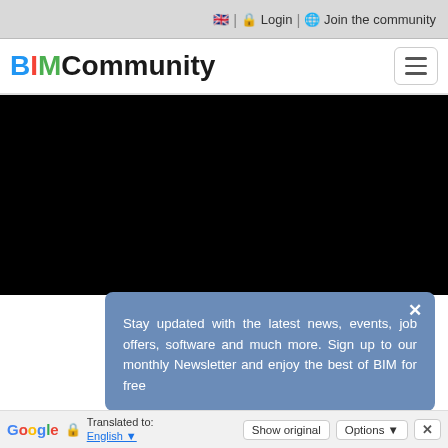🇬🇧 | 🔒 Login | 🌐 Join the community
BIM Community
[Figure (screenshot): Black video/image area on the BIM Community website]
Stay updated with the latest news, events, job offers, software and much more. Sign up to our monthly Newsletter and enjoy the best of BIM for free
Google  Translated to: English  Show original  Options  ✕